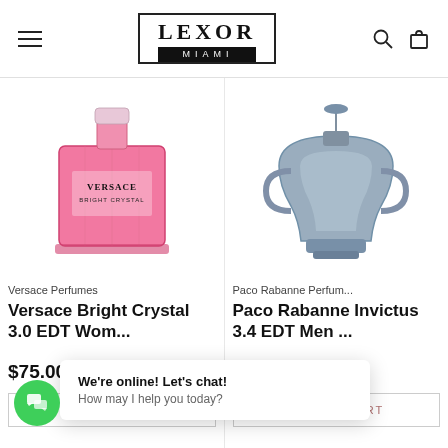Lexor Miami — Navigation header with hamburger menu, logo, search and bag icons
[Figure (photo): Versace Bright Crystal 3.0 EDT perfume bottle — pink rectangular glass bottle with crystal-like facets]
Versace Perfumes
Versace Bright Crystal 3.0 EDT Wom...
$75.00  $100.00
ADD TO CART
[Figure (photo): Paco Rabanne Invictus 3.4 EDT Men perfume bottle — trophy-shaped frosted grey glass bottle]
Paco Rabanne Perfum...
Paco Rabanne Invictus 3.4 EDT Men ...
$78.00  $95.00
ADD TO CART
We're online! Let's chat!
How may I help you today?